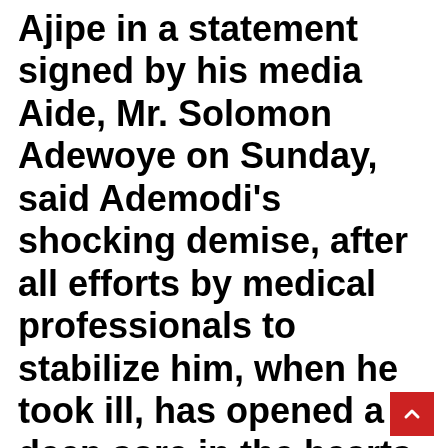Ajipe in a statement signed by his media Aide, Mr. Solomon Adewoye on Sunday, said Ademodi's shocking demise, after all efforts by medical professionals to stabilize him, when he took ill, has opened a deep sore in the hearts of millions of Nigerians